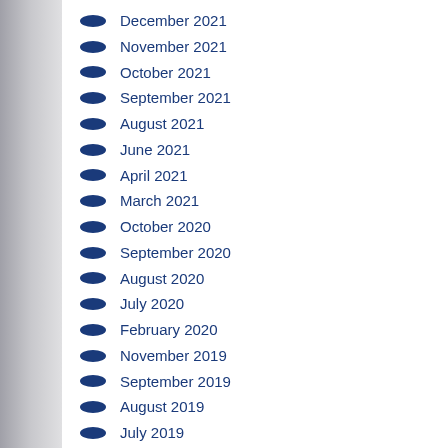December 2021
November 2021
October 2021
September 2021
August 2021
June 2021
April 2021
March 2021
October 2020
September 2020
August 2020
July 2020
February 2020
November 2019
September 2019
August 2019
July 2019
June 2019
May 2019
April 2019
March 2019